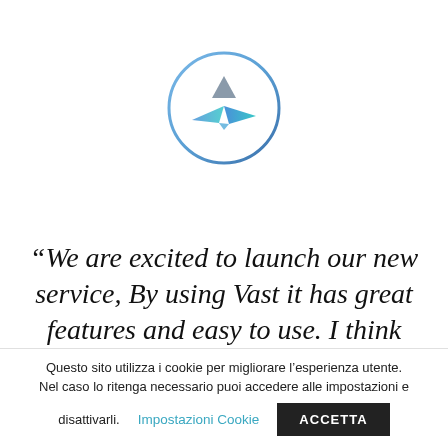[Figure (logo): Circular logo with a gradient blue-to-teal border, containing a stylized paper boat shape in blue/teal with a grey triangle above it — the Vast logo.]
“We are excited to launch our new service, By using Vast it has great features and easy to use. I think you’re
Questo sito utilizza i cookie per migliorare l’esperienza utente. Nel caso lo ritenga necessario puoi accedere alle impostazioni e disattivarli.
Impostazioni Cookie
ACCETTA